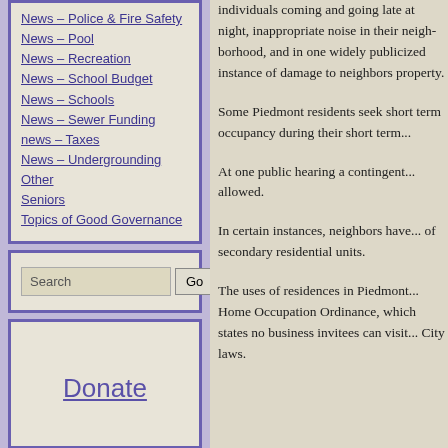News – Police & Fire Safety
News – Pool
News – Recreation
News – School Budget
News – Schools
News – Sewer Funding
news – Taxes
News – Undergrounding
Other
Seniors
Topics of Good Governance
individuals coming and going late at night, inappropriate noise in their neighborhood, and in one widely publicized instance of damage to neighbors property.
Some Piedmont residents seek short term occupancy during their short term...
At one public hearing a contingent... allowed.
In certain instances, neighbors ha... of secondary residential units.
The uses of residences in Piedmo... Home Occupation Ordinance, wh... states no business invitees can vis... City laws.